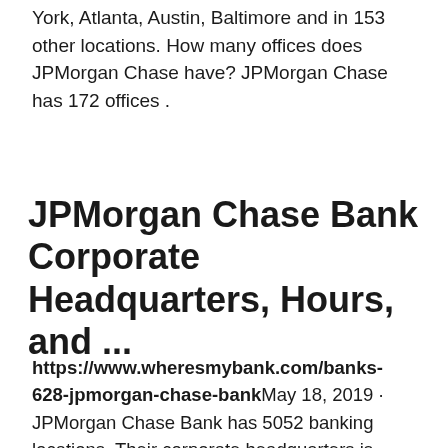York, Atlanta, Austin, Baltimore and in 153 other locations. How many offices does JPMorgan Chase have? JPMorgan Chase has 172 offices .
JPMorgan Chase Bank Corporate Headquarters, Hours, and ...
https://www.wheresmybank.com/banks-628-jpmorgan-chase-bank May 18, 2019 · JPMorgan Chase Bank has 5052 banking locations. Their corporate headquarters is listed as: 1111 Polaris Parkway in Columbus Ohio. Below you will find ratings, reviews, corporate information, directions, office